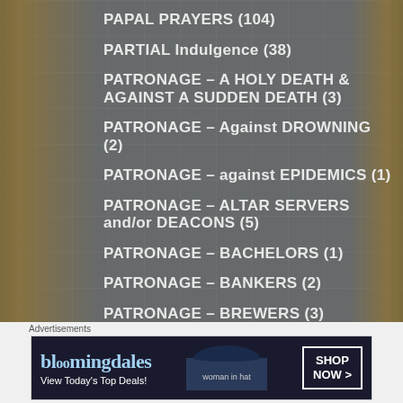PAPAL PRAYERS (104)
PARTIAL Indulgence (38)
PATRONAGE – A HOLY DEATH & AGAINST A SUDDEN DEATH (3)
PATRONAGE – Against DROWNING (2)
PATRONAGE – against EPIDEMICS (1)
PATRONAGE – ALTAR SERVERS and/or DEACONS (5)
PATRONAGE – BACHELORS (1)
PATRONAGE – BANKERS (2)
PATRONAGE – BREWERS (3)
PATRONAGE – CATECHISTS (3)
[Figure (infographic): Bloomingdale's advertisement banner with text 'View Today's Top Deals!' and 'SHOP NOW >' button, with a woman in a wide-brimmed hat]